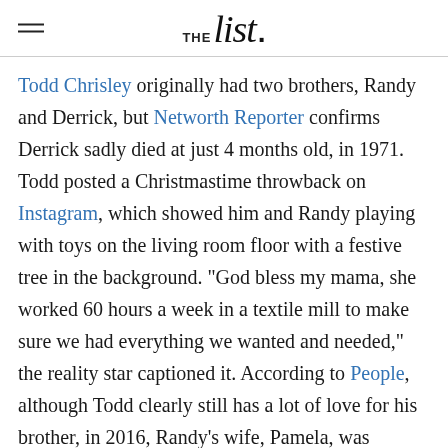THE list.
Todd Chrisley originally had two brothers, Randy and Derrick, but Networth Reporter confirms Derrick sadly died at just 4 months old, in 1971. Todd posted a Christmastime throwback on Instagram, which showed him and Randy playing with toys on the living room floor with a festive tree in the background. "God bless my mama, she worked 60 hours a week in a textile mill to make sure we had everything we wanted and needed," the reality star captioned it. According to People, although Todd clearly still has a lot of love for his brother, in 2016, Randy's wife, Pamela, was arrested after she attempted to blackmail the Chrisley clan by threatening to sell a story about them to